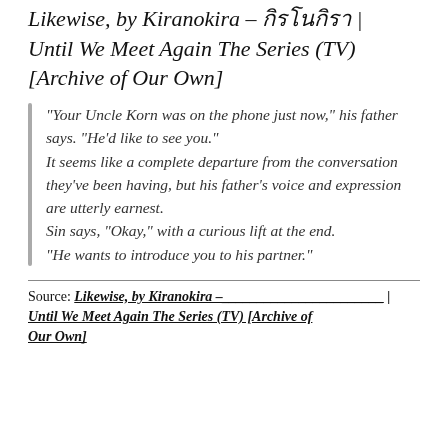Likewise, by Kiranokira – กิรโนกิรา | Until We Meet Again The Series (TV) [Archive of Our Own]
“Your Uncle Korn was on the phone just now,” his father says. “He’d like to see you.”
It seems like a complete departure from the conversation they’ve been having, but his father’s voice and expression are utterly earnest.
Sin says, “Okay,” with a curious lift at the end.
“He wants to introduce you to his partner.”
Source: Likewise, by Kiranokira – Until We Meet Again The Series (TV) [Archive of Our Own]